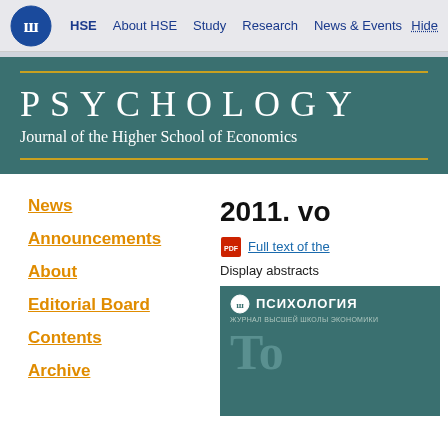HSE | About HSE | Study | Research | News & Events | Hide
PSYCHOLOGY
Journal of the Higher School of Economics
News
Announcements
About
Editorial Board
Contents
Archive
2011. vo
Full text of the
Display abstracts
[Figure (screenshot): Journal cover showing ПСИХОЛОГИЯ (Psychology) in Russian with HSE logo on teal/green background]